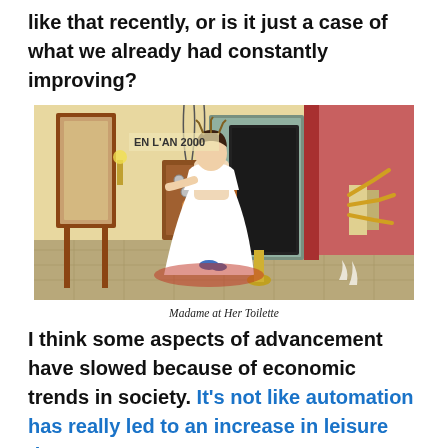like that recently, or is it just a case of what we already had constantly improving?
[Figure (illustration): Vintage French illustration from 'En L'An 2000' series showing a woman seated at a futuristic dressing table with mechanical/electrical apparatus, titled 'Madame at Her Toilette']
Madame at Her Toilette
I think some aspects of advancement have slowed because of economic trends in society. It's not like automation has really led to an increase in leisure time,